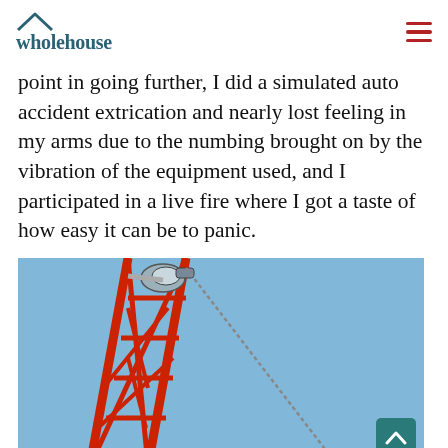wholehouse
point in going further, I did a simulated auto accident extrication and nearly lost feeling in my arms due to the numbing brought on by the vibration of the equipment used, and I participated in a live fire where I got a taste of how easy it can be to panic.
[Figure (photo): A red steel communication tower or antenna mast photographed against a clear blue sky, with a spotlight or camera fixture visible near the top left. The structure features red diagonal cross-bracing members.]